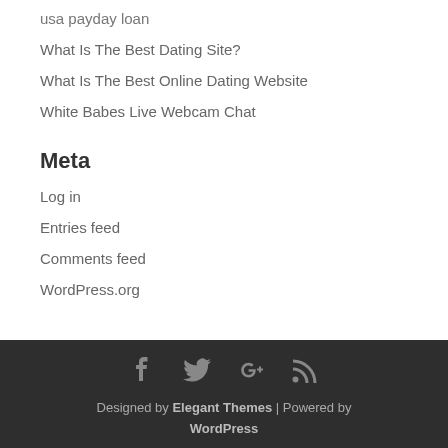usa payday loan
What Is The Best Dating Site?
What Is The Best Online Dating Website
White Babes Live Webcam Chat
Meta
Log in
Entries feed
Comments feed
WordPress.org
Designed by Elegant Themes | Powered by WordPress